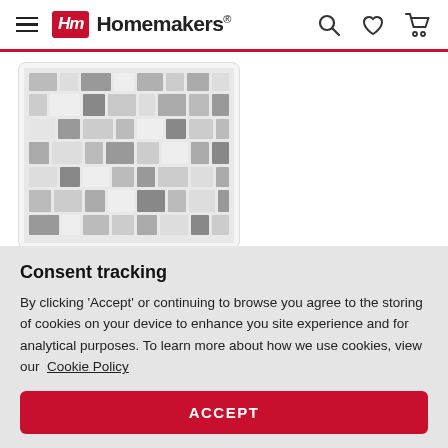Homemakers
[Figure (photo): A gray patterned area rug (Powell Laredo 5' X 7' Gray Rug) displayed on a white background, showing a mosaic/geometric tile-like pattern in shades of gray and white.]
★★★★★ (0)
Powell Laredo 5' X 7' Gray Rug
Consent tracking
By clicking 'Accept' or continuing to browse you agree to the storing of cookies on your device to enhance you site experience and for analytical purposes. To learn more about how we use cookies, view our Cookie Policy
ACCEPT